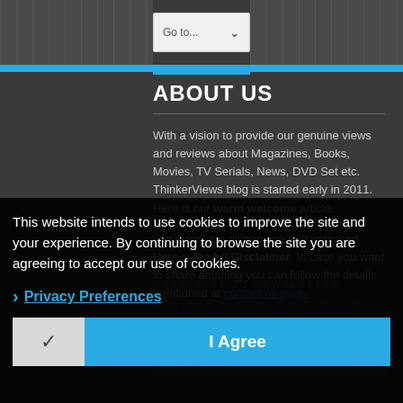Go to...
ABOUT US
With a vision to provide our genuine views and reviews about Magazines, Books, Movies, TV Serials, News, DVD Set etc. ThinkerViews blog is started early in 2011. Here is our warm welcome article.
Our views are all genuine and unbiased. Here is the full Disclaimer. In case you want to share anything you can follow the details mentioned at contact us page.
This website intends to use cookies to improve the site and your experience. By continuing to browse the site you are agreeing to accept our use of cookies.
Privacy Preferences
I Agree